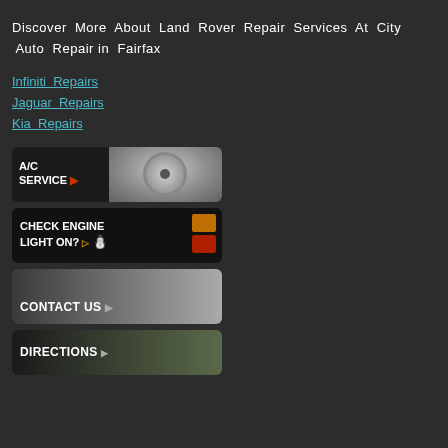Discover More About Land Rover Repair Services At City Auto Repair in Fairfax
Infiniti Repairs
Jaguar Repairs
Kia Repairs
[Figure (photo): A/C Service banner with A/C knob image]
[Figure (photo): Check Engine Light On? banner with warning light icons]
[Figure (photo): Contact Us banner with keyboard/hand image]
[Figure (photo): Directions banner with map/phone image]